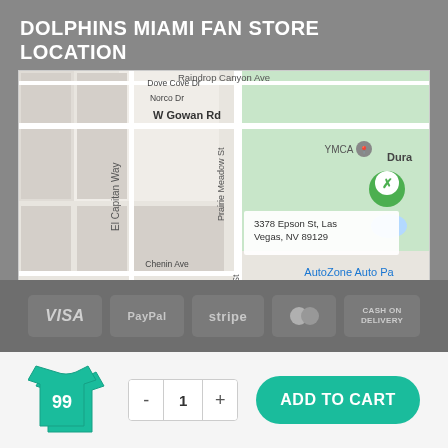DOLPHINS MIAMI FAN STORE LOCATION
[Figure (map): Google Maps screenshot showing the area around 3378 Epson St, Las Vegas, NV 89129. Visible landmarks include YMCA, AutoZone Auto Parts, Walgreens, BikeBrain, Forte Family Practice, and streets including W Gowan Rd, El Capitan Way, Prairie Meadow St, Epson St, W Cheyenne Ave, Dove Cove Dr, Norco Dr, Chenin Ave, Ballad Ave. A blue shopping bag pin marker is visible at the store location.]
[Figure (infographic): Payment method badges: VISA, PayPal, stripe, MasterCard, CASH ON DELIVERY]
[Figure (infographic): Add to cart section with Miami Dolphins jersey thumbnail, quantity selector showing 1 with minus and plus buttons, and teal ADD TO CART button]